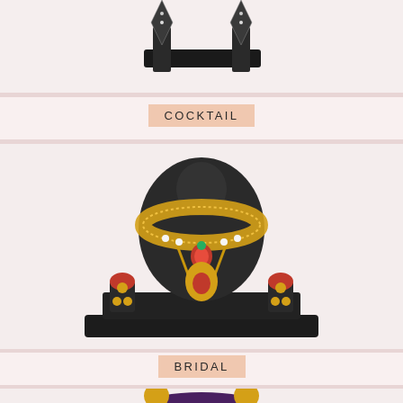[Figure (photo): Diamond/crystal earrings displayed on a dark black jewelry stand against a light pinkish-white background – partial image at top of page]
COCKTAIL
[Figure (photo): Elaborate Indian bridal necklace set with large gold choker necklace adorned with red and green gemstones, displayed on a dark jewelry bust stand with matching jhumka earrings on either side]
BRIDAL
[Figure (photo): Gold and green Indian jhumka earrings with floral design and green gemstones, displayed on a dark purple/maroon earring holder – partial image at bottom of page]